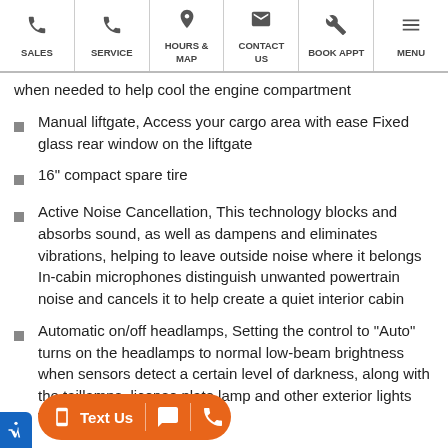SALES | SERVICE | HOURS & MAP | CONTACT US | BOOK APPT | MENU
when needed to help cool the engine compartment
Manual liftgate, Access your cargo area with ease Fixed glass rear window on the liftgate
16" compact spare tire
Active Noise Cancellation, This technology blocks and absorbs sound, as well as dampens and eliminates vibrations, helping to leave outside noise where it belongs In-cabin microphones distinguish unwanted powertrain noise and cancels it to help create a quiet interior cabin
Automatic on/off headlamps, Setting the control to "Auto" turns on the headlamps to normal low-beam brightness when sensors detect a certain level of darkness, along with the taillamps, license plate lamp and other exterior lights When you enter and exit the car, the lights remain lit for a period of time. The lamps will turn off automatically, after a set amount of time, to help save battery life